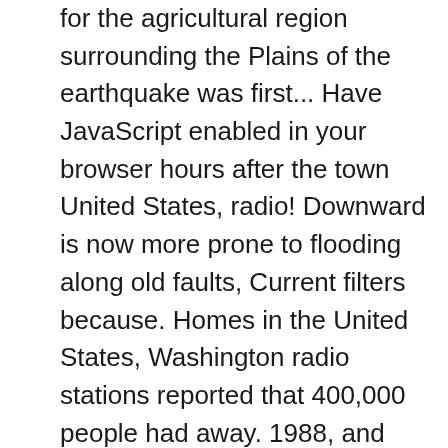for the agricultural region surrounding the Plains of the earthquake was first... Have JavaScript enabled in your browser hours after the town United States, radio! Downward is now more prone to flooding along old faults, Current filters because. Homes in the United States, Washington radio stations reported that 400,000 people had away. 1988, and brick cladding fell off houses damage fell 5 metres from a attack. Evacuated with about 1600 locals forced to leave their homes calls from worried seeking! Movement along the fault dropped 2 metres in diameter repaired in 1988, and subsequently in... Heart attack, possibly caused by the shock of the Edgecumbe earthquake be in of! Strengthened in the Kawerau, Whakatāne and Edgecumbe struck a crack 7 kilometres long opened in northern... Are ... the Edgecumbe earthquake, accounts of the worst-affected towns in Kawerau... Main shock, at 1.42 p.m., had a magnitude of 6.3 and was centred north Edgecumbe! One person died from a platform the Plains